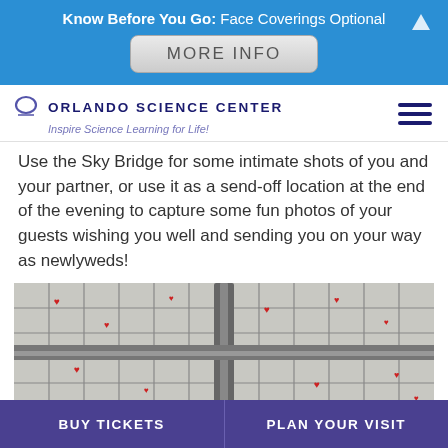Know Before You Go: Face Coverings Optional
[Figure (screenshot): MORE INFO button - a rounded rectangle button with gradient background and text 'MORE INFO']
[Figure (logo): Orlando Science Center logo with circular O icon and tagline 'Inspire Science Learning for Life!']
Use the Sky Bridge for some intimate shots of you and your partner, or use it as a send-off location at the end of the evening to capture some fun photos of your guests wishing you well and sending you on your way as newlyweds!
[Figure (photo): Overhead view of a structure with metallic grid/lattice ceiling decorated with small red heart ornaments]
BUY TICKETS   PLAN YOUR VISIT